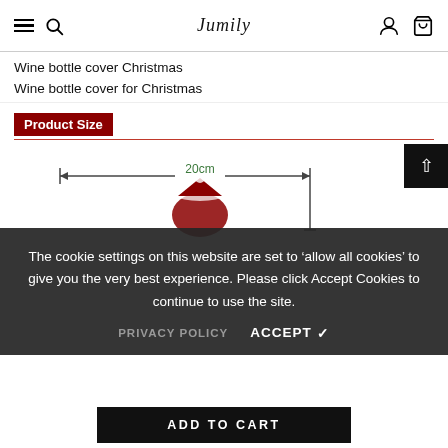Jumily
Wine bottle cover Christmas
Wine bottle cover for Christmas
Product Size
[Figure (engineering-diagram): Measurement diagram showing a 20cm width dimension line with a Christmas-themed wine bottle cover illustration below]
The cookie settings on this website are set to ‘allow all cookies’ to give you the very best experience. Please click Accept Cookies to continue to use the site.
PRIVACY POLICY   ACCEPT ✓
ADD TO CART